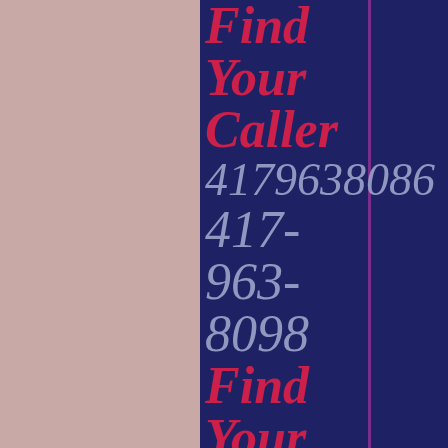Find Your Caller 4179638086 417-963-8098 Find Your Caller 4179638098 417-963-8045 Find Your Caller
[Figure (other): Page with dark navy blue center panel, pinkish-beige side panels, and a vertical purple line dividing the center panel. Text repeats 'Find Your Caller' in pink/red italic serif, followed by phone numbers in light blue/gray italic serif.]